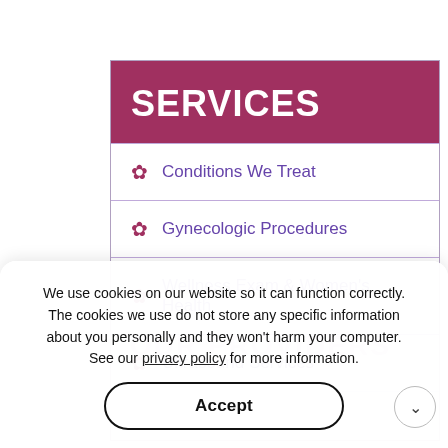SERVICES
Conditions We Treat
Gynecologic Procedures
Wellness Exam & Women's Health
Ultrasound Services
We use cookies on our website so it can function correctly. The cookies we use do not store any specific information about you personally and they won't harm your computer. See our privacy policy for more information.
Accept